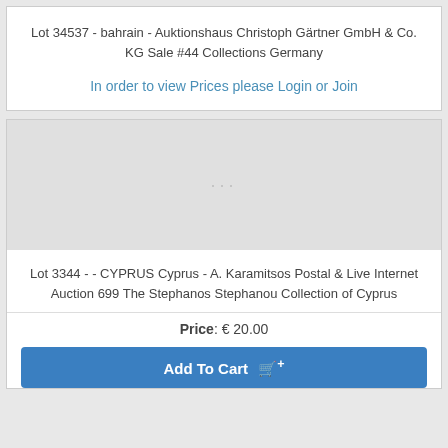Lot 34537 - bahrain - Auktionshaus Christoph Gärtner GmbH & Co. KG Sale #44 Collections Germany
In order to view Prices please Login or Join
[Figure (other): Gray image placeholder with ellipsis text]
Lot 3344 - - CYPRUS Cyprus - A. Karamitsos Postal & Live Internet Auction 699 The Stephanos Stephanou Collection of Cyprus
Price: € 20.00
Add To Cart